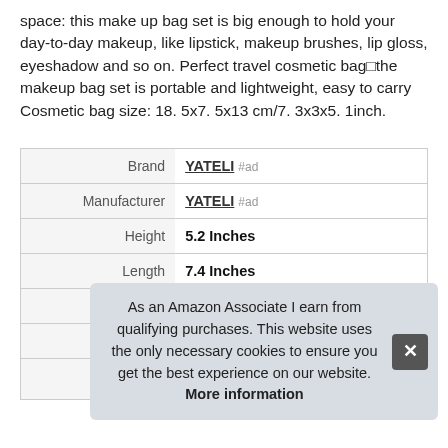space: this make up bag set is big enough to hold your day-to-day makeup, like lipstick, makeup brushes, lip gloss, eyeshadow and so on. Perfect travel cosmetic bag—the makeup bag set is portable and lightweight, easy to carry Cosmetic bag size: 18. 5x7. 5x13 cm/7. 3x3x5. 1inch.
|  |  |
| --- | --- |
| Brand | YATELI #ad |
| Manufacturer | YATELI #ad |
| Height | 5.2 Inches |
| Length | 7.4 Inches |
| Weight | 0.13 Pounds |
| P |  |
|  |  |
As an Amazon Associate I earn from qualifying purchases. This website uses the only necessary cookies to ensure you get the best experience on our website. More information